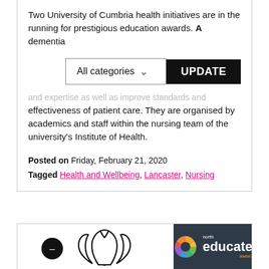Two University of Cumbria health initiatives are in the running for prestigious education awards. A dementia
and expertise as well as improve standards and effectiveness of patient care. They are organised by academics and staff within the nursing team of the university's Institute of Health.
Posted on Friday, February 21, 2020
Tagged Health and Wellbeing, Lancaster, Nursing
[Figure (logo): University of Cumbria leaf/plant logo (black and white) on the left; North Educate Awards logo on dark background on the right]